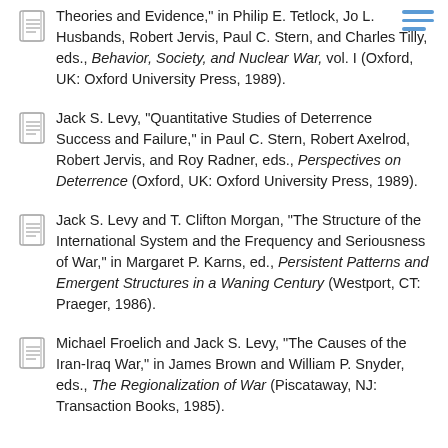Theories and Evidence," in Philip E. Tetlock, Jo L. Husbands, Robert Jervis, Paul C. Stern, and Charles Tilly, eds., Behavior, Society, and Nuclear War, vol. I (Oxford, UK: Oxford University Press, 1989).
Jack S. Levy, "Quantitative Studies of Deterrence Success and Failure," in Paul C. Stern, Robert Axelrod, Robert Jervis, and Roy Radner, eds., Perspectives on Deterrence (Oxford, UK: Oxford University Press, 1989).
Jack S. Levy and T. Clifton Morgan, "The Structure of the International System and the Frequency and Seriousness of War," in Margaret P. Karns, ed., Persistent Patterns and Emergent Structures in a Waning Century (Westport, CT: Praeger, 1986).
Michael Froelich and Jack S. Levy, "The Causes of the Iran-Iraq War," in James Brown and William P. Snyder, eds., The Regionalization of War (Piscataway, NJ: Transaction Books, 1985).